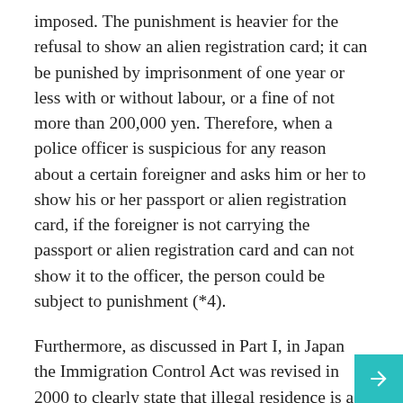imposed. The punishment is heavier for the refusal to show an alien registration card; it can be punished by imprisonment of one year or less with or without labour, or a fine of not more than 200,000 yen. Therefore, when a police officer is suspicious for any reason about a certain foreigner and asks him or her to show his or her passport or alien registration card, if the foreigner is not carrying the passport or alien registration card and can not show it to the officer, the person could be subject to punishment (*4).
Furthermore, as discussed in Part I, in Japan the Immigration Control Act was revised in 2000 to clearly state that illegal residence is a criminal offence. Consequently, if a foreigner without a passport or registration card does not even remember his or her passport number or registration number, and the police officer, as a result, is unable to contact the Immigration Bureau to check the residential status of such a foreigner, the police officer will naturally strongly suspect that a